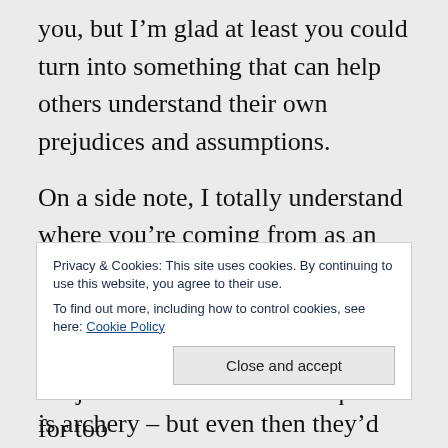you, but I'm glad at least you could turn into something that can help others understand their own prejudices and assumptions.
On a side note, I totally understand where you're coming from as an archer. There's a small but persistent contingent of boffer larpers who assume that the only kind of fighting women are good at is archery – but even then they'd never be as good as a man, of course.
Privacy & Cookies: This site uses cookies. By continuing to use this website, you agree to their use.
To find out more, including how to control cookies, see here: Cookie Policy
it's just that we've been too quiet for too